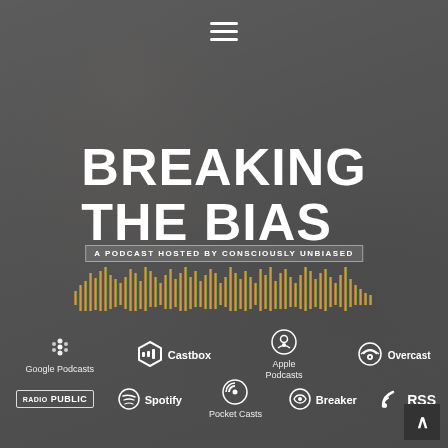[Figure (photo): Background photo of a woman wearing headphones and smiling, sitting in front of a podcast microphone in a studio setting. The image has a dark gray overlay.]
BREAKING THE BIAS
A PODCAST HOSTED BY CONSCIOUSLY UNBIASED
[Figure (infographic): Sound wave / audio waveform visualization with bars in warm orange, brown, and yellow-green gradient colors, representing podcast audio.]
[Figure (logo): Google Podcasts logo with dots icon]
[Figure (logo): Castbox logo with hexagon icon]
[Figure (logo): Apple Podcasts logo with circle icon]
[Figure (logo): Overcast logo with radio wave icon]
[Figure (logo): RadioPublic logo in rectangle border]
[Figure (logo): Spotify logo with music note icon]
[Figure (logo): Pocket Casts logo]
[Figure (logo): Breaker logo]
[Figure (logo): RSS logo with signal icon]